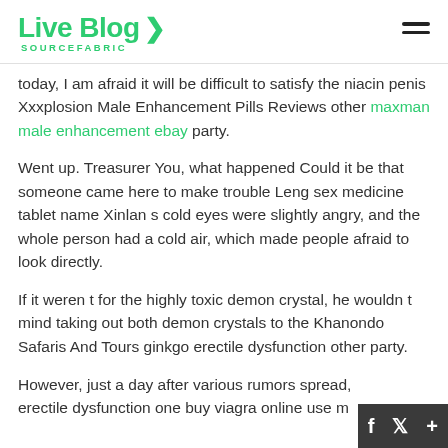Live Blog SOURCEFABRIC
today, I am afraid it will be difficult to satisfy the niacin penis Xxxplosion Male Enhancement Pills Reviews other maxman male enhancement ebay party.
Went up. Treasurer You, what happened Could it be that someone came here to make trouble Leng sex medicine tablet name Xinlan s cold eyes were slightly angry, and the whole person had a cold air, which made people afraid to look directly.
If it weren t for the highly toxic demon crystal, he wouldn t mind taking out both demon crystals to the Khanondo Safaris And Tours ginkgo erectile dysfunction other party.
However, just a day after various rumors spread, erectile dysfunction one buy viagra online use m